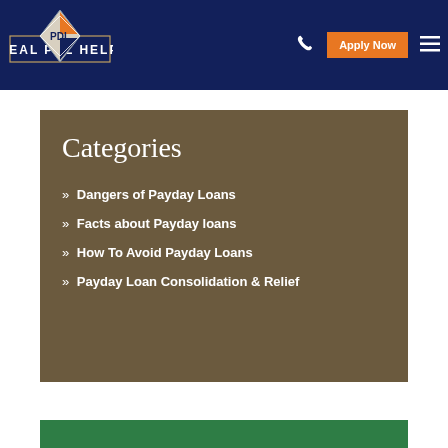[Figure (logo): Real PDL Help logo — diamond shape with orange/white/dark blue sections, text REAL PDL HELP]
Apply Now
Categories
» Dangers of Payday Loans
» Facts about Payday loans
» How To Avoid Payday Loans
» Payday Loan Consolidation & Relief